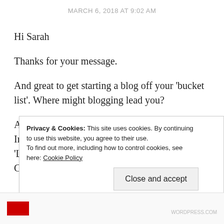MARCH 6, 2018 AT 9:02 AM
Hi Sarah
Thanks for your message.
And great to get starting a blog off your 'bucket list'. Where might blogging lead you?
And great to have you on our journey in our unit. In our first week we will particularly focus on the 'Learning' in Accounting, Learning & Online Communication … and lots to learn about
Privacy & Cookies: This site uses cookies. By continuing to use this website, you agree to their use.
To find out more, including how to control cookies, see here: Cookie Policy
Close and accept